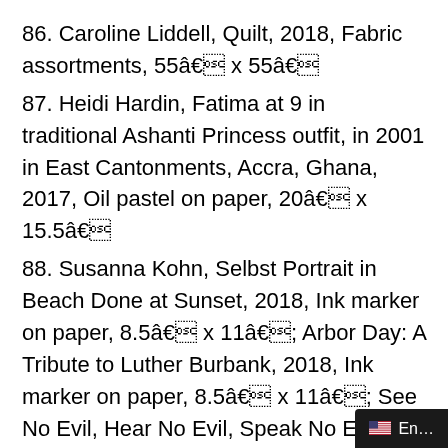86. Caroline Liddell, Quilt, 2018, Fabric assortments, 55â€ x 55â€
87. Heidi Hardin, Fatima at 9 in traditional Ashanti Princess outfit, in 2001 in East Cantonments, Accra, Ghana, 2017, Oil pastel on paper, 20â€ x 15.5â€
88. Susanna Kohn, Selbst Portrait in Beach Done at Sunset, 2018, Ink marker on paper, 8.5â€ x 11â€; Arbor Day: A Tribute to Luther Burbank, 2018, Ink marker on paper, 8.5â€ x 11â€; See No Evil, Hear No Evil, Speak No Evil Under a Coconut Palm, 2018, Ink marker on paper, 8.5â€ x 11â€
89. Alexandra Shalamova, Flowers, Collage 13.5â€ x 9â€
90. Marissa Kunz, Garden Plant, 2017, Waterco… x 17â€